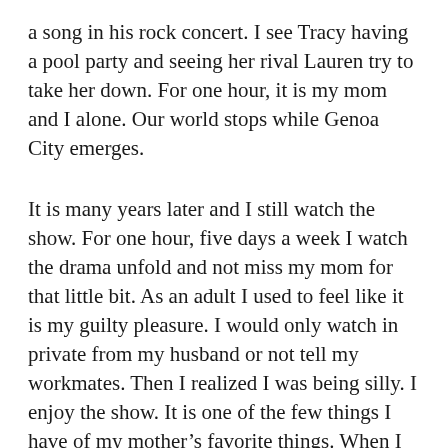a song in his rock concert. I see Tracy having a pool party and seeing her rival Lauren try to take her down. For one hour, it is my mom and I alone. Our world stops while Genoa City emerges.
It is many years later and I still watch the show. For one hour, five days a week I watch the drama unfold and not miss my mom for that little bit. As an adult I used to feel like it is my guilty pleasure. I would only watch in private from my husband or not tell my workmates. Then I realized I was being silly. I enjoy the show. It is one of the few things I have of my mother's favorite things. When I became pregnant I would watch the show to relax. When my girls were babies I would let them nap in my arms during the magic hour where I could